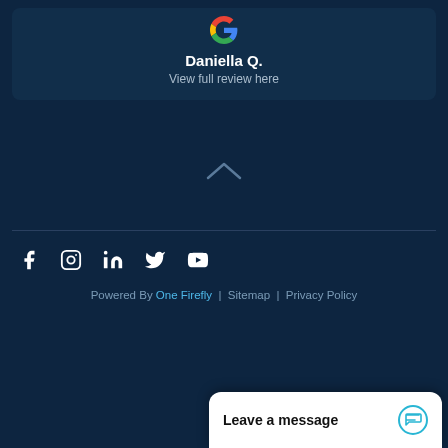[Figure (logo): Google 'G' logo in color]
Daniella Q.
View full review here
[Figure (other): Chevron/caret up arrow icon]
[Figure (other): Social media icons: Facebook, Instagram, LinkedIn, Twitter, YouTube]
Powered By One Firefly | Sitemap | Privacy Policy
Leave a message